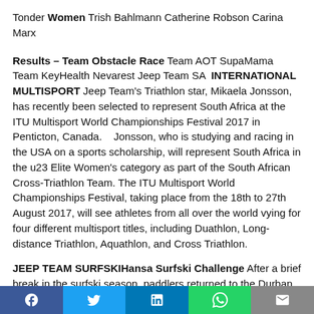Tonder Women Trish Bahlmann Catherine Robson Carina Marx
Results – Team Obstacle Race Team AOT SupaMama Team KeyHealth Nevarest Jeep Team SA  INTERNATIONAL MULTISPORT Jeep Team's Triathlon star, Mikaela Jonsson, has recently been selected to represent South Africa at the ITU Multisport World Championships Festival 2017 in Penticton, Canada.    Jonsson, who is studying and racing in the USA on a sports scholarship, will represent South Africa in the u23 Elite Women's category as part of the South African Cross-Triathlon Team. The ITU Multisport World Championships Festival, taking place from the 18th to 27th August 2017, will see athletes from all over the world vying for four different multisport titles, including Duathlon, Long-distance Triathlon, Aquathlon, and Cross Triathlon.
JEEP TEAM SURFSKIHansa Surfski Challenge After a brief break in the surfski season, paddlers returned to the Durban surf on 01 May for the start of the Bay Union Surfski Series. Jeep Team paddler, Barry Lewin, claimed a 5th place finish at his opening race of the season, the Hansa Surfski Challenge. Lewin completed the
Facebook Twitter LinkedIn WhatsApp Email